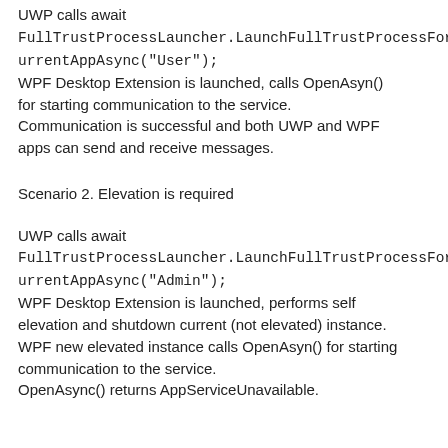UWP calls await FullTrustProcessLauncher.LaunchFullTrustProcessForCurrentAppAsync("User"); WPF Desktop Extension is launched, calls OpenAsyn() for starting communication to the service. Communication is successful and both UWP and WPF apps can send and receive messages.
Scenario 2. Elevation is required
UWP calls await FullTrustProcessLauncher.LaunchFullTrustProcessForCurrentAppAsync("Admin"); WPF Desktop Extension is launched, performs self elevation and shutdown current (not elevated) instance. WPF new elevated instance calls OpenAsyn() for starting communication to the service. OpenAsync() returns AppServiceUnavailable.